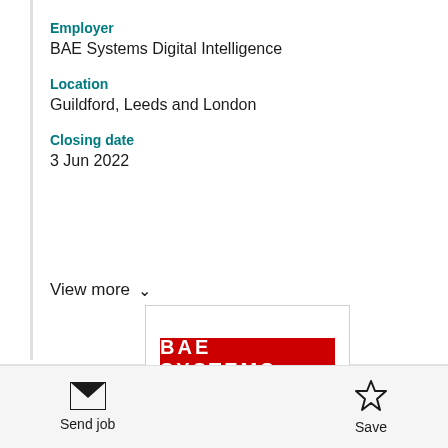Employer
BAE Systems Digital Intelligence
Location
Guildford, Leeds and London
Closing date
3 Jun 2022
View more
[Figure (logo): BAE SYSTEMS logo — white text on red background rectangle]
Send job
Save